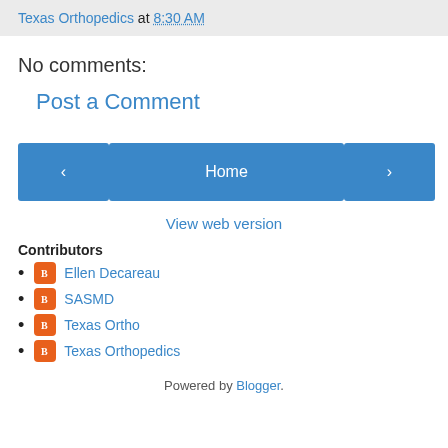Texas Orthopedics at 8:30 AM
No comments:
Post a Comment
< Home > View web version
Contributors
Ellen Decareau
SASMD
Texas Ortho
Texas Orthopedics
Powered by Blogger.